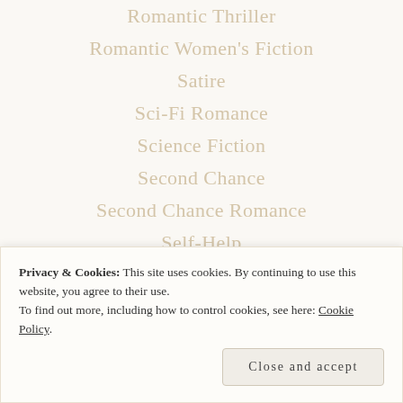Romantic Thriller
Romantic Women's Fiction
Satire
Sci-Fi Romance
Science Fiction
Second Chance
Second Chance Romance
Self-Help
Serial
Series...
Privacy & Cookies: This site uses cookies. By continuing to use this website, you agree to their use. To find out more, including how to control cookies, see here: Cookie Policy
Close and accept